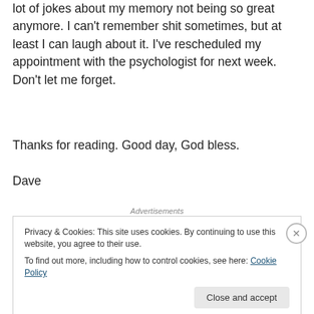lot of jokes about my memory not being so great anymore. I can't remember shit sometimes, but at least I can laugh about it. I've rescheduled my appointment with the psychologist for next week. Don't let me forget.
Thanks for reading. Good day, God bless.
Dave
Advertisements
Privacy & Cookies: This site uses cookies. By continuing to use this website, you agree to their use.
To find out more, including how to control cookies, see here: Cookie Policy